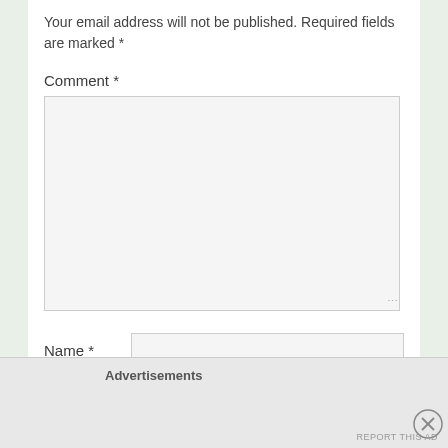Your email address will not be published. Required fields are marked *
Comment *
Name *
Email *
Advertisements
REPORT THIS AD